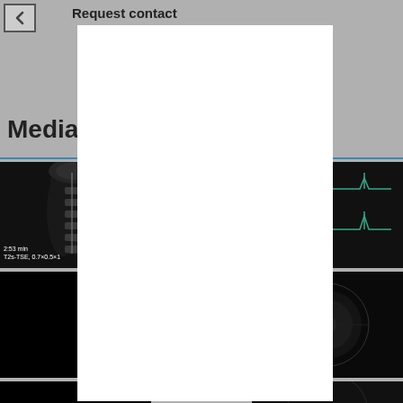Request contact
Media
[Figure (photo): MRI scan of cervical spine, sagittal view, dark background with white tissue detail. Caption: 2:53 min, T2s-TSE, 0.7×0.5×1]
[Figure (continuous-plot): Medical spectroscopy or ECG waveform chart showing peaks on dark background]
[Figure (photo): Black medical scan image, second row left]
[Figure (photo): Dark circular medical scan image, second row right]
[Figure (photo): Dark medical scan image, third row left (partially visible)]
[Figure (photo): Dark medical scan image, third row right (partially visible)]